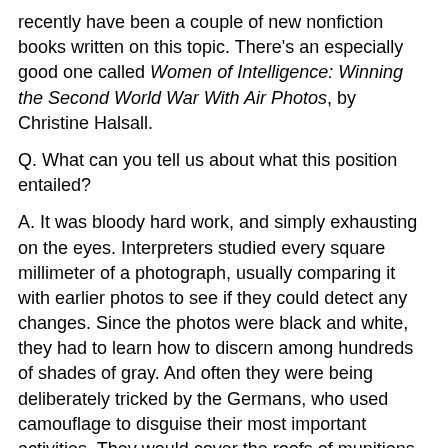recently have been a couple of new nonfiction books written on this topic. There's an especially good one called Women of Intelligence: Winning the Second World War With Air Photos, by Christine Halsall.
Q. What can you tell us about what this position entailed?
A. It was bloody hard work, and simply exhausting on the eyes. Interpreters studied every square millimeter of a photograph, usually comparing it with earlier photos to see if they could detect any changes. Since the photos were black and white, they had to learn how to discern among hundreds of shades of gray. And often they were being deliberately tricked by the Germans, who used camouflage to disguise their most important activities. They would cover the roofs of munitions factories with fake houses, complete to the last flowerbox, for example. Or paint their runways with green and yellow blocks to resemble fields.
Q. Operation Fortitude. Did it really happen?
A. Yes, it really happened. This was such a crazy idea that it actually worked! While planning to invade the beaches of